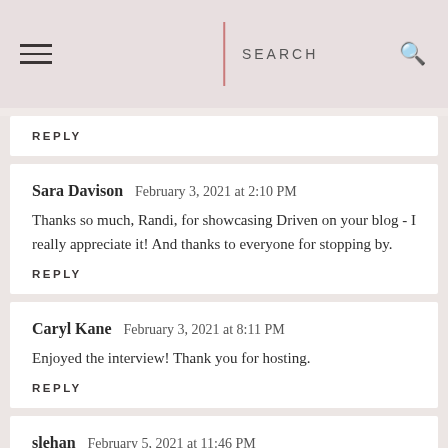SEARCH
REPLY
Sara Davison  February 3, 2021 at 2:10 PM
Thanks so much, Randi, for showcasing Driven on your blog - I really appreciate it! And thanks to everyone for stopping by.
REPLY
Caryl Kane  February 3, 2021 at 8:11 PM
Enjoyed the interview! Thank you for hosting.
REPLY
slehan  February 5, 2021 at 11:46 PM